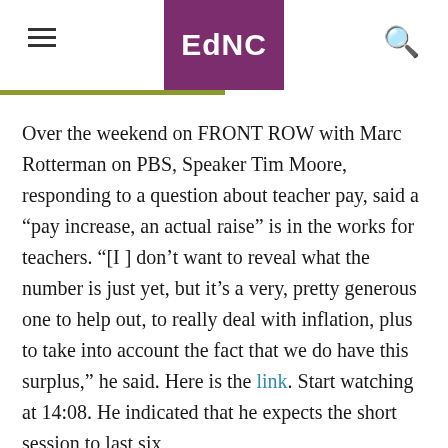EdNC
Over the weekend on FRONT ROW with Marc Rotterman on PBS, Speaker Tim Moore, responding to a question about teacher pay, said a “pay increase, an actual raise” is in the works for teachers. “[I ] don’t want to reveal what the number is just yet, but it’s a very, pretty generous one to help out, to really deal with inflation, plus to take into account the fact that we do have this surplus,” he said. Here is the link. Start watching at 14:08. He indicated that he expects the short session to last six